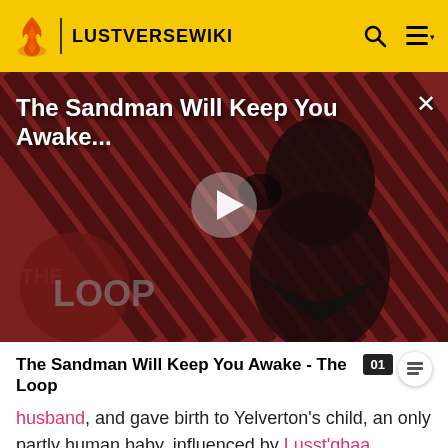LUSTVERSEWIKI
[Figure (screenshot): Video thumbnail showing a dark-cloaked figure against a red and black diagonal striped background. Overlaid text reads 'The Sandman Will Keep You Awake...' with a play button in the center and 'THE LOOP' branding at the bottom left.]
The Sandman Will Keep You Awake - The Loop
husband, and gave birth to Yelverton's child, an only partly human baby, influenced by Lusst'ghaa. However, she seemingly had a plan of her own. She sent a letter to Jonathan asking him to come to Yelverton's Manor...